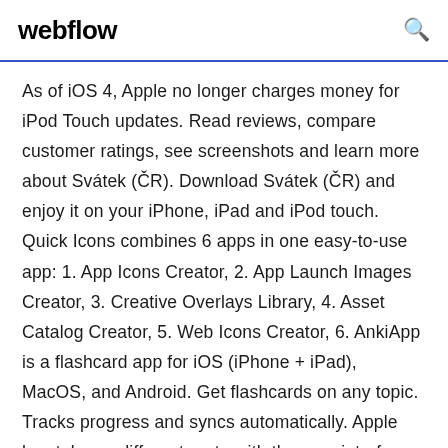webflow
As of iOS 4, Apple no longer charges money for iPod Touch updates. Read reviews, compare customer ratings, see screenshots and learn more about Svátek (ČR). Download Svátek (ČR) and enjoy it on your iPhone, iPad and iPod touch. Quick Icons combines 6 apps in one easy-to-use app: 1. App Icons Creator, 2. App Launch Images Creator, 3. Creative Overlays Library, 4. Asset Catalog Creator, 5. Web Icons Creator, 6. AnkiApp is a flashcard app for iOS (iPhone + iPad), MacOS, and Android. Get flashcards on any topic. Tracks progress and syncs automatically. Apple has taken a different route with the user interface and changed experience with the iOS 7 software update. Our